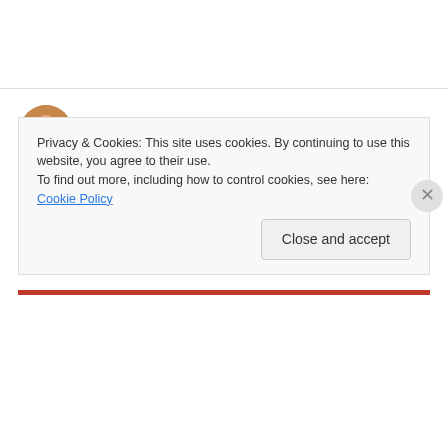Alex Jeffreys on October 25, 2008 at 1:24 am
hey dean,

check all the clams on your oil rig algae 🙂

peace – alex
Privacy & Cookies: This site uses cookies. By continuing to use this website, you agree to their use. To find out more, including how to control cookies, see here: Cookie Policy